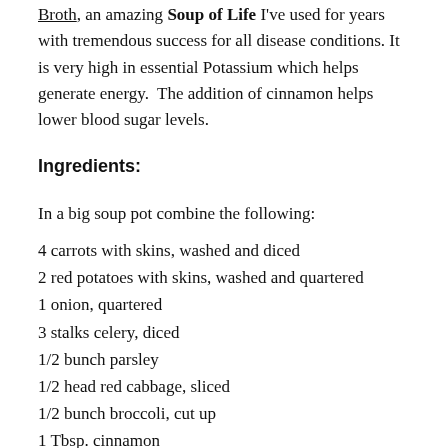Broth, an amazing Soup of Life I've used for years with tremendous success for all disease conditions. It is very high in essential Potassium which helps generate energy.  The addition of cinnamon helps lower blood sugar levels.
Ingredients:
In a big soup pot combine the following:
4 carrots with skins, washed and diced
2 red potatoes with skins, washed and quartered
1 onion, quartered
3 stalks celery, diced
1/2 bunch parsley
1/2 head red cabbage, sliced
1/2 bunch broccoli, cut up
1 Tbsp. cinnamon